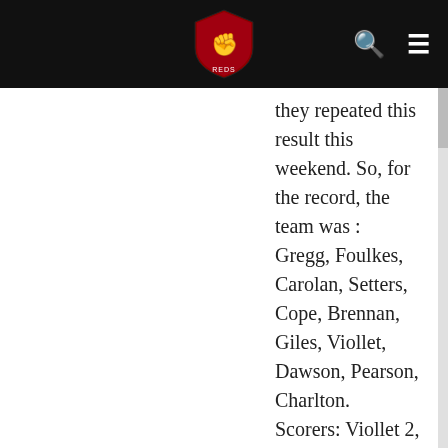they repeated this result this weekend. So, for the record, the team was : Gregg, Foulkes, Carolan, Setters, Cope, Brennan, Giles, Viollet, Dawson, Pearson, Charlton. Scorers: Viollet 2, Dawson, Giles, Pearson. The players were in the classic 'Babes' kit, plain red shirts with white V-neck, short sleeves and white trim, white shorts. Only difference then was they had white socks, not the black, red and white. God what a thrill it was to see my heroes in person, and how wonderful those red shirts seemed to me, just like in the colour photos in Charlie Buchan's Football Monthly, and just like my 'Umbro' replica shirt, a treasured Xmas gift from my parents in '58. I remember thinking that while Harry Gregg and Bill Foulkes and